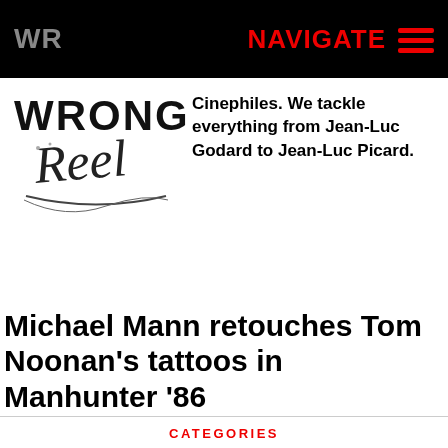WR   NAVIGATE
[Figure (logo): Wrong Reel logo in script lettering, black and white illustration]
Cinephiles. We tackle everything from Jean-Luc Godard to Jean-Luc Picard.
Michael Mann retouches Tom Noonan's tattoos in Manhunter '86
CATEGORIES